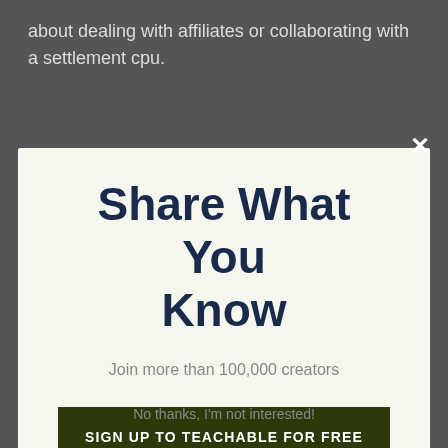about dealing with affiliates or collaborating with a settlement cpu.
[Figure (screenshot): Modal popup overlay with dark close button (×) in top right corner]
Share What You Know
Join more than 100,000 creators
SIGN UP TO TEACHABLE FOR FREE TODAY
No thanks, I'm not interested!
that will enable you to upsell your training course when you send out a customized thank you page, Techalbe provides plenty of resources to assist